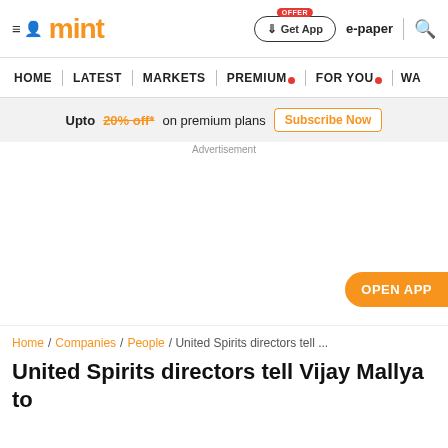mint — Get App | e-paper | search
HOME | LATEST | MARKETS | PREMIUM | FOR YOU | WA...
Upto 20% off* on premium plans  Subscribe Now
Advertisement
[Figure (other): Empty advertisement area with OPEN APP button on the right]
Home / Companies / People / United Spirits directors tell ...
United Spirits directors tell Vijay Mallya to